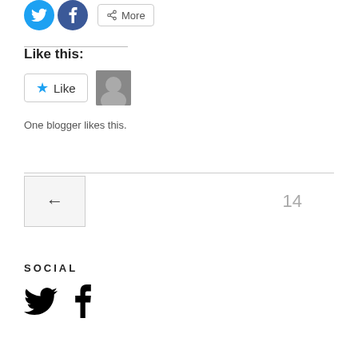[Figure (other): Social sharing buttons: Twitter (blue circle), Facebook (blue circle), and a More button with share icon]
Like this:
[Figure (other): Like button widget with star icon and blogger avatar thumbnail. Text: One blogger likes this.]
One blogger likes this.
[Figure (other): Navigation: back arrow button on left, number 14 on right]
SOCIAL
[Figure (other): Social media icons: Twitter bird and Facebook f logo in black]